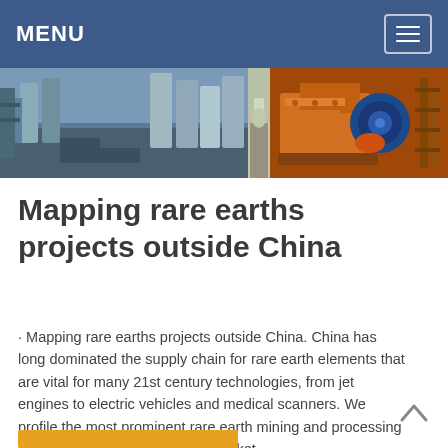MENU
[Figure (photo): Industrial mining/processing facility banner — two photos side by side: left shows industrial towers and machinery, right shows orange-colored heavy mining equipment with electric motor]
Mapping rare earths projects outside China
· Mapping rare earths projects outside China. China has long dominated the supply chain for rare earth elements that are vital for many 21st century technologies, from jet engines to electric vehicles and medical scanners. We profile the most prominent rare earth mining and processing projects outside the dominant market.